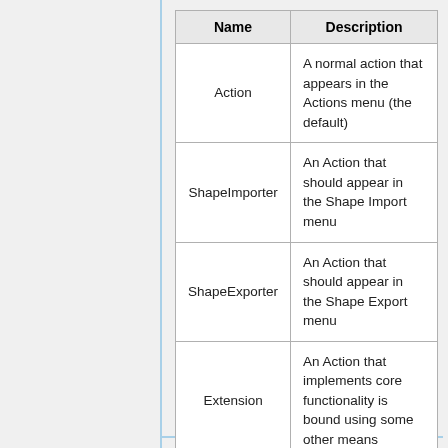| Name | Description |
| --- | --- |
| Action | A normal action that appears in the Actions menu (the default) |
| ShapeImporter | An Action that should appear in the Shape Import menu |
| ShapeExporter | An Action that should appear in the Shape Export menu |
| Extension | An Action that implements core functionality is bound using some other means |